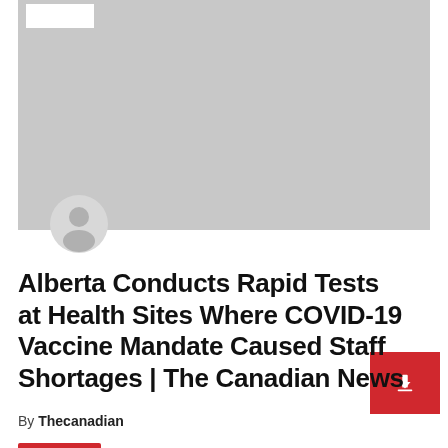[Figure (photo): Gray placeholder hero image at top of article page with white logo box in top-left corner and circular user avatar overlapping the bottom edge]
Alberta Conducts Rapid Tests at Health Sites Where COVID-19 Vaccine Mandate Caused Staff Shortages | The Canadian News
By Thecanadian
daily-news